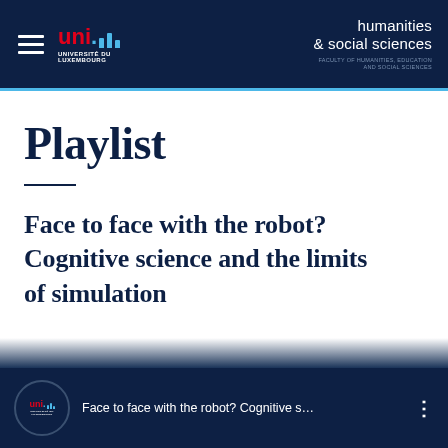Université du Luxembourg — humanities & social sciences — FACULTY OF HUMANITIES, EDUCATION AND SOCIAL SCIENCES
Playlist
Face to face with the robot? Cognitive science and the limits of simulation
[Figure (screenshot): Video thumbnail bar showing uni.lu logo and truncated video title: 'Face to face with the robot? Cognitive s...' with three-dot menu icon]